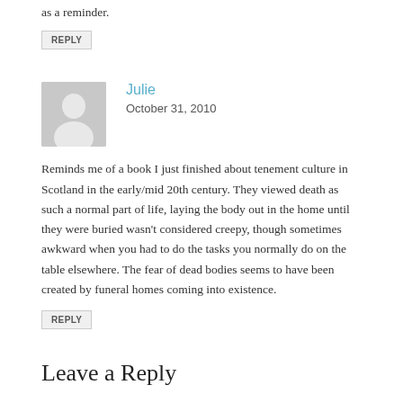as a reminder.
REPLY
Julie
October 31, 2010
Reminds me of a book I just finished about tenement culture in Scotland in the early/mid 20th century. They viewed death as such a normal part of life, laying the body out in the home until they were buried wasn't considered creepy, though sometimes awkward when you had to do the tasks you normally do on the table elsewhere. The fear of dead bodies seems to have been created by funeral homes coming into existence.
REPLY
Leave a Reply
Your email address will not be published. Required fields are marked *